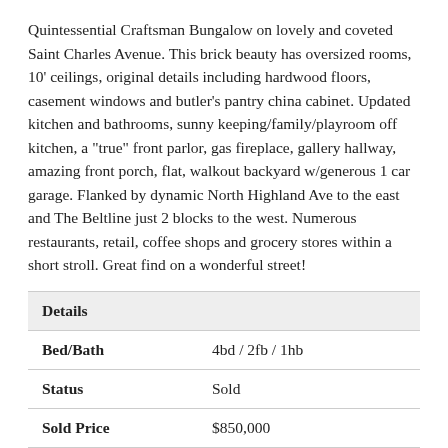Quintessential Craftsman Bungalow on lovely and coveted Saint Charles Avenue. This brick beauty has oversized rooms, 10' ceilings, original details including hardwood floors, casement windows and butler's pantry china cabinet. Updated kitchen and bathrooms, sunny keeping/family/playroom off kitchen, a "true" front parlor, gas fireplace, gallery hallway, amazing front porch, flat, walkout backyard w/generous 1 car garage. Flanked by dynamic North Highland Ave to the east and The Beltline just 2 blocks to the west. Numerous restaurants, retail, coffee shops and grocery stores within a short stroll. Great find on a wonderful street!
| Details |  |
| --- | --- |
| Bed/Bath | 4bd / 2fb / 1hb |
| Status | Sold |
| Sold Price | $850,000 |